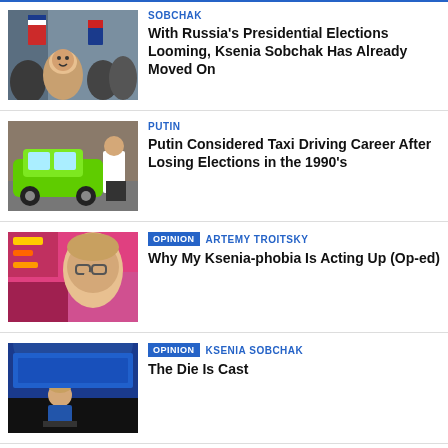[Figure (photo): Crowd with flags, woman smiling in foreground]
SOBCHAK
With Russia's Presidential Elections Looming, Ksenia Sobchak Has Already Moved On
[Figure (photo): Man in white shirt next to bright green car]
PUTIN
Putin Considered Taxi Driving Career After Losing Elections in the 1990's
[Figure (photo): Woman with glasses adjusting her glasses, colorful background]
OPINION  ARTEMY TROITSKY
Why My Ksenia-phobia Is Acting Up (Op-ed)
[Figure (photo): Woman on stage with blue background]
OPINION  KSENIA SOBCHAK
The Die Is Cast
[Figure (other): Loading spinner circle]